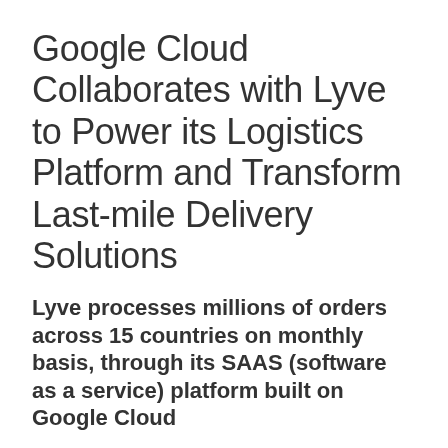Google Cloud Collaborates with Lyve to Power its Logistics Platform and Transform Last-mile Delivery Solutions
Lyve processes millions of orders across 15 countries on monthly basis, through its SAAS (software as a service) platform built on Google Cloud
Dubai, UAE – March 21, 2022 – Google Cloud has announced today the collaboration with Lyve, a global logistics solutions and technology company, that is transforming last mile